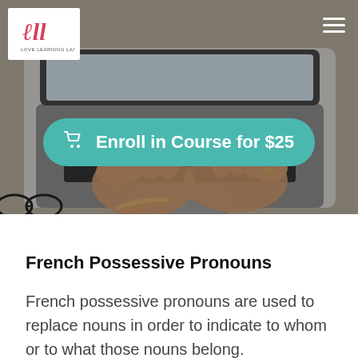[Figure (photo): Overhead photo of a person's hands typing on a MacBook laptop on a wooden desk, with sunglasses visible in the lower left corner. A teal/turquoise pill-shaped button overlaid reads 'Enroll in Course for $25' with a shopping cart icon.]
French Possessive Pronouns
French possessive pronouns are used to replace nouns in order to indicate to whom or to what those nouns belong.